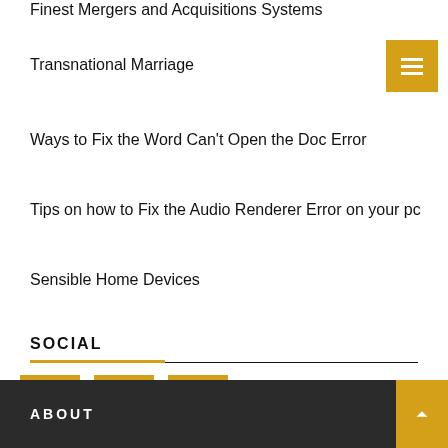Finest Mergers and Acquisitions Systems
Transnational Marriage
Ways to Fix the Word Can't Open the Doc Error
Tips on how to Fix the Audio Renderer Error on your pc
Sensible Home Devices
SOCIAL
[Figure (infographic): Social media icons: Facebook (f), Twitter (bird), LinkedIn (in) in gold/yellow square buttons]
ABOUT